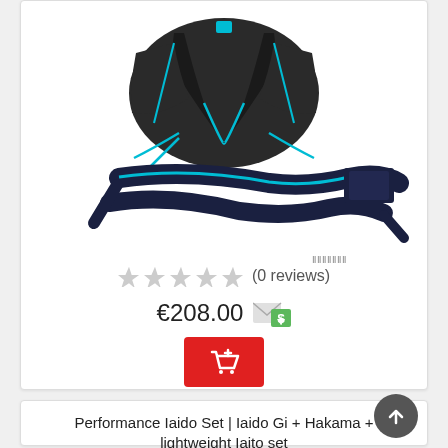[Figure (photo): Product photo of a black iaido gi jacket (open, showing blue lining) and a black obi belt with blue trim on a white background]
(0 reviews)
€208.00
[Figure (screenshot): Red add to cart button with shopping cart icon]
Performance Iaido Set | Iaido Gi + Hakama + lightweight Iaito set
[Figure (photo): Small product thumbnails showing black gi, white gi, and hakama set]